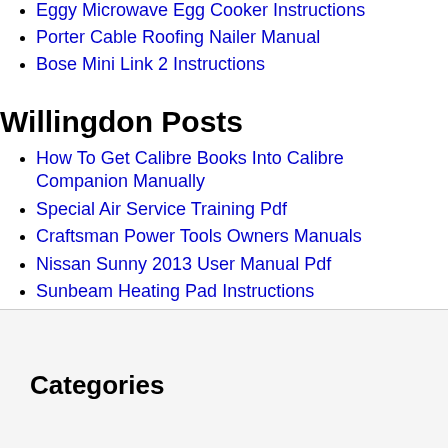Eggy Microwave Egg Cooker Instructions
Porter Cable Roofing Nailer Manual
Bose Mini Link 2 Instructions
Willingdon Posts
How To Get Calibre Books Into Calibre Companion Manually
Special Air Service Training Pdf
Craftsman Power Tools Owners Manuals
Nissan Sunny 2013 User Manual Pdf
Sunbeam Heating Pad Instructions
Categories